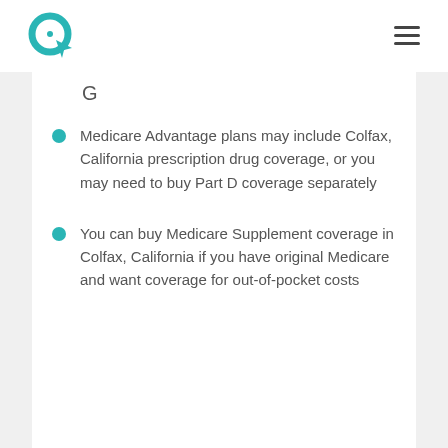Logo and navigation header
G
Medicare Advantage plans may include Colfax, California prescription drug coverage, or you may need to buy Part D coverage separately
You can buy Medicare Supplement coverage in Colfax, California if you have original Medicare and want coverage for out-of-pocket costs